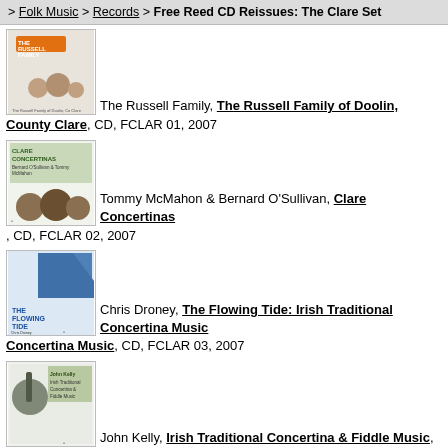> Folk Music > Records > Free Reed CD Reissues: The Clare Set
The Russell Family, The Russell Family of Doolin, County Clare, CD, FCLAR 01, 2007
Tommy McMahon & Bernard O'Sullivan, Clare Concertinas, CD, FCLAR 02, 2007
Chris Droney, The Flowing Tide: Irish Traditional Concertina Music, CD, FCLAR 03, 2007
John Kelly, Irish Traditional Concertina & Fiddle Music, CD, FCLAR 04, 2007